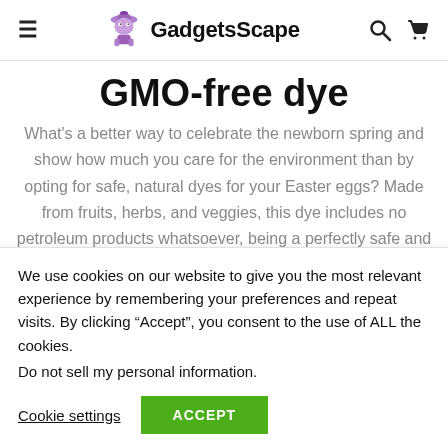GadgetsScape
GMO-free dye
What's a better way to celebrate the newborn spring and show how much you care for the environment than by opting for safe, natural dyes for your Easter eggs? Made from fruits, herbs, and veggies, this dye includes no petroleum products whatsoever, being a perfectly safe and eco-friendly choice.
We use cookies on our website to give you the most relevant experience by remembering your preferences and repeat visits. By clicking “Accept”, you consent to the use of ALL the cookies.
Do not sell my personal information.
Cookie settings
ACCEPT